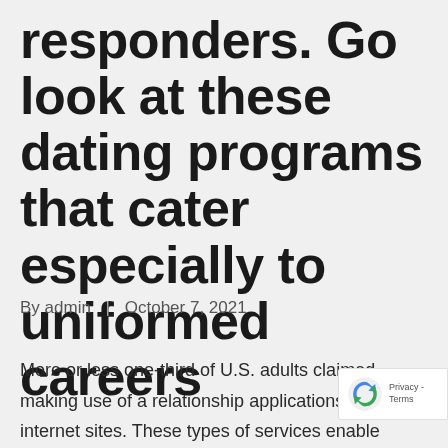responders. Go look at these dating programs that cater especially to uniformed careers
By admin | October 7, 2021
More or less one-third of U.S. adults claimed making use of a relationship applications or internet sites. These types of services enable single men and women to find likely business partners with general minimize. Because online dating services markets gets, area of interest